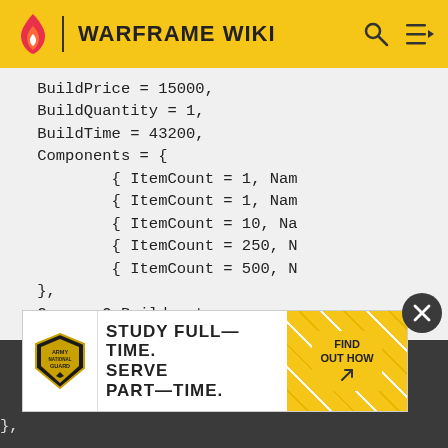WARFRAME WIKI
BuildPrice = 15000,
    BuildQuantity = 1,
    BuildTime = 43200,
    Components = {
            { ItemCount = 1, Nam
            { ItemCount = 1, Nam
            { ItemCount = 10, Na
            { ItemCount = 250, N
            { ItemCount = 500, N
    },
    ConsumeOnBuild = true,
    Description = "This living m
    Image = "Mutagen Mass.png'
    InternalName = "/Lotus/Typ
[Figure (infographic): Army National Guard advertisement: STUDY FULL-TIME. SERVE PART-TIME. FIND OUT HOW]
Name = "Mutagen Mass",
    Rush = 5,
    Type = "Resource"
},